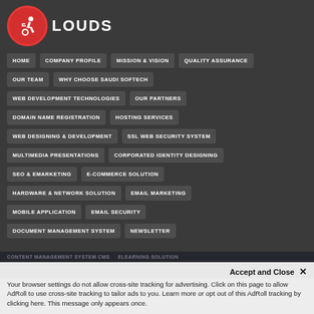CLOUDS (logo with accessibility icon)
HOME
COMPANY PROFILE
MISSION & VISION
QUALITY ASSURANCE
OUR TEAM
WHY CHOOSE SAUDI SOFTECH
WEB DEVELOPMENT TECHNOLOGIES
OUR PARTNERS
DOMAIN NAME REGISTRATION
HOSTING SERVICES
WEB DESIGNING & DEVELOPMENT
SSL WEB SECURITY SYSTEM
MULTIMEDIA PRESENTATIONS
CORPORATED IDENTITY DESIGNING
SEO & EMARKETING
E-COMMERCE SOLUTION
HARDWARE & NETWORK SOLUTION
EMAIL MARKETING
MOBILE APPLICATION
EMAIL SECURITY
DOCUMENT MANAGEMENT SYSTEM
NEWSLETTER
CONTENT MANAGEMENT SYSTEM CMS   ELEARNING SOLUTION
Accept and Close ✕
Your browser settings do not allow cross-site tracking for advertising. Click on this page to allow AdRoll to use cross-site tracking to tailor ads to you. Learn more or opt out of this AdRoll tracking by clicking here. This message only appears once.